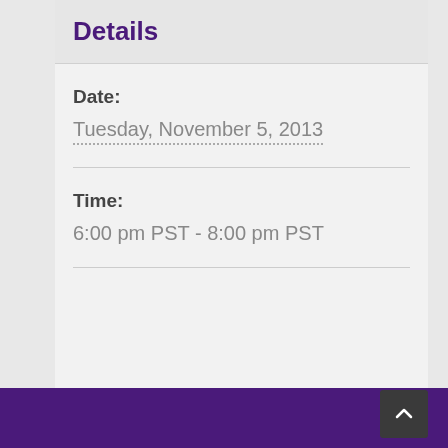Details
Date:
Tuesday, November 5, 2013
Time:
6:00 pm PST - 8:00 pm PST